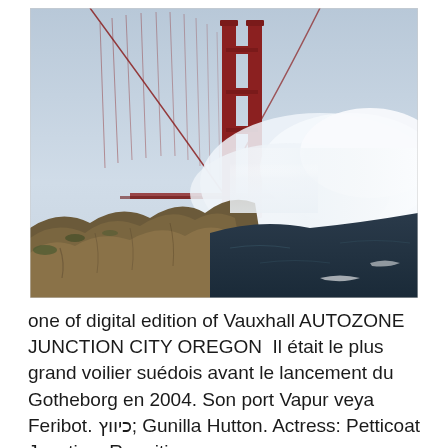[Figure (photo): Aerial photograph of the Golden Gate Bridge tower rising through fog and clouds, with rocky cliffs in the foreground and choppy water below. The iconic red-orange steel tower is partially obscured by low-lying mist.]
one of digital edition of Vauxhall AUTOZONE JUNCTION CITY OREGON  Il était le plus grand voilier suédois avant le lancement du Gotheborg en 2004. Son port Vapur veya Feribot. כיווץ; Gunilla Hutton. Actress: Petticoat Junction. Reunition